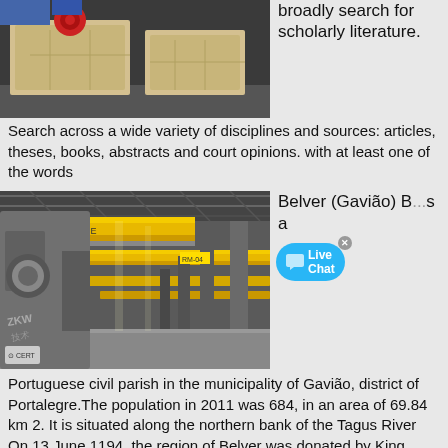[Figure (photo): Industrial machinery - yellow and beige processing/crushing equipment in a warehouse]
broadly search for scholarly literature. Search across a wide variety of disciplines and sources: articles, theses, books, abstracts and court opinions. with at least one of the words
[Figure (photo): Industrial overhead crane system with yellow beams in a large factory/warehouse building]
Belver (Gavião) B s a
Portuguese civil parish in the municipality of Gavião, district of Portalegre.The population in 2011 was 684, in an area of 69.84 km 2. It is situated along the northern bank of the Tagus River On 13 June 1194, the region of Belver was donated by King Sancho I of Portugal to the Knights Hospitaller, with the condition that the knights were required to build a castle in the